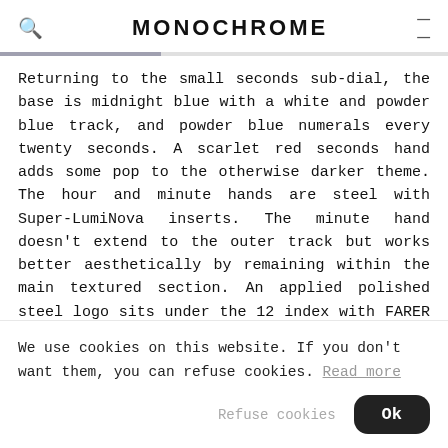MONOCHROME
Returning to the small seconds sub-dial, the base is midnight blue with a white and powder blue track, and powder blue numerals every twenty seconds. A scarlet red seconds hand adds some pop to the otherwise darker theme. The hour and minute hands are steel with Super-LumiNova inserts. The minute hand doesn't extend to the outer track but works better aesthetically by remaining within the main textured section. An applied polished steel logo sits under the 12 index with FARER UNIVERSAL printed underneath. SWISS MADE is
We use cookies on this website. If you don't want them, you can refuse cookies. Read more